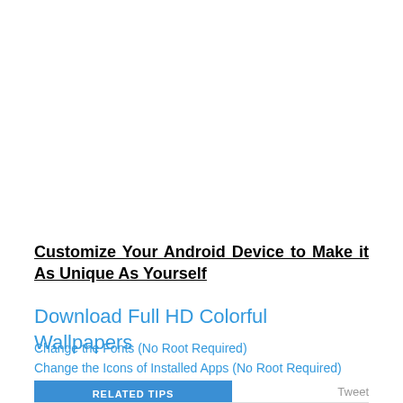Customize Your Android Device to Make it As Unique As Yourself
Download Full HD Colorful Wallpapers
Change the Fonts (No Root Required)
Change the Icons of Installed Apps (No Root Required)
RELATED TIPS
Tweet